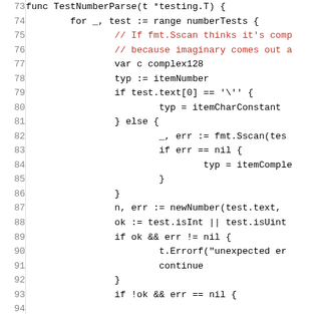[Figure (screenshot): Source code screenshot showing Go function TestNumberParse with line numbers 73-93, containing for loop, variable declarations, if/else branches, and function calls. Comments on lines 75-76 are shown in red.]